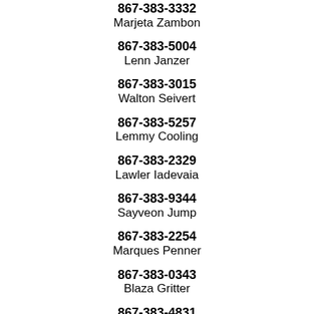867-383-3332
Marjeta Zambon
867-383-5004
Lenn Janzer
867-383-3015
Walton Seivert
867-383-5257
Lemmy Cooling
867-383-2329
Lawler Iadevaia
867-383-9344
Sayveon Jump
867-383-2254
Marques Penner
867-383-0343
Blaza Gritter
867-383-4831
Phylliss Howson